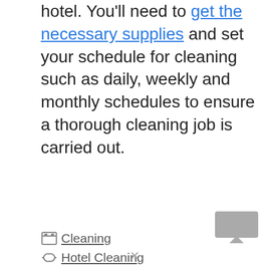hotel. You'll need to get the necessary supplies and set your schedule for cleaning such as daily, weekly and monthly schedules to ensure a thorough cleaning job is carried out.
Cleaning
Hotel Cleaning
< Laboratory Cleaning Checklist – Plan Tasks And Procedures
> Sample Tenant Cleaning Checklist Template